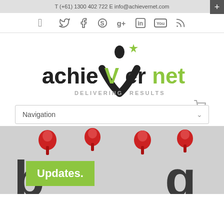T (+61) 1300 402 722 E info@achievernet.com
[Figure (logo): achievernet logo with person figure, green star, and tagline DELIVERING RESULTS]
Navigation
[Figure (photo): Blog banner image with red push pins, green Updates box, and large blog text letters]